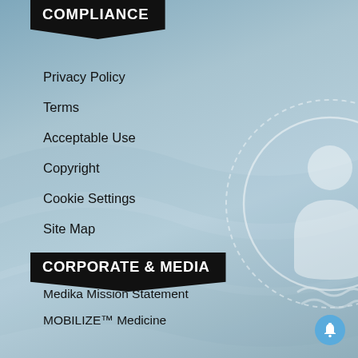COMPLIANCE
Privacy Policy
Terms
Acceptable Use
Copyright
Cookie Settings
Site Map
CORPORATE & MEDIA
Medika Mission Statement
MOBILIZE™ Medicine
Medika Social Projects
Partner with Medika
Medika Media Relations
Create your Free Account
[Figure (illustration): Circular shield/lock icon with dotted border and medical/person silhouette, semi-transparent white on blue-grey background, right side of page]